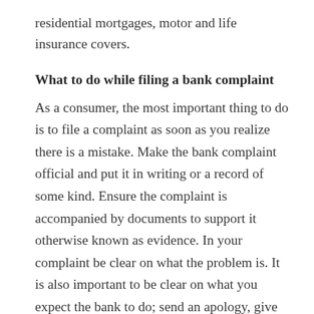residential mortgages, motor and life insurance covers.
What to do while filing a bank complaint
As a consumer, the most important thing to do is to file a complaint as soon as you realize there is a mistake. Make the bank complaint official and put it in writing or a record of some kind. Ensure the complaint is accompanied by documents to support it otherwise known as evidence. In your complaint be clear on what the problem is. It is also important to be clear on what you expect the bank to do; send an apology, give you a refund or offer compensation? It is also important to follow the right procedure as